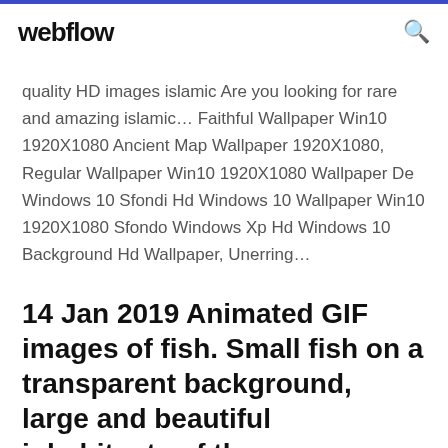webflow
quality HD images islamic Are you looking for rare and amazing islamic… Faithful Wallpaper Win10 1920X1080 Ancient Map Wallpaper 1920X1080, Regular Wallpaper Win10 1920X1080 Wallpaper De Windows 10 Sfondi Hd Windows 10 Wallpaper Win10 1920X1080 Sfondo Windows Xp Hd Windows 10 Background Hd Wallpaper, Unerring…
14 Jan 2019 Animated GIF images of fish. Small fish on a transparent background, large and beautiful inhabitants of the oceans. Download for free!